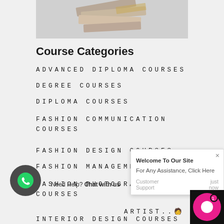[Figure (photo): Photo of stacked books/materials viewed from above on a light gray background]
Course Categories
ADVANCED DIPLOMA COURSES
DEGREE COURSES
DIPLOMA COURSES
FASHION COMMUNICATION COURSES
FASHION DESIGN COURSES
FASHION MANAGEMENT COURSES
FASHION PHOTOGRAPHY COURSES
ARTIST..
INTERIOR DESIGN COURSES